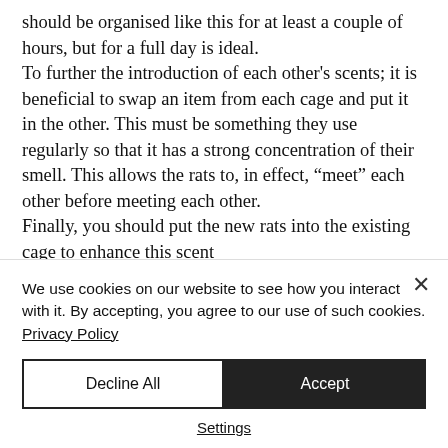should be organised like this for at least a couple of hours, but for a full day is ideal. To further the introduction of each other's scents; it is beneficial to swap an item from each cage and put it in the other. This must be something they use regularly so that it has a strong concentration of their smell. This allows the rats to, in effect, “meet” each other before meeting each other. Finally, you should put the new rats into the existing cage to enhance this scent
We use cookies on our website to see how you interact with it. By accepting, you agree to our use of such cookies. Privacy Policy
Decline All
Accept
Settings